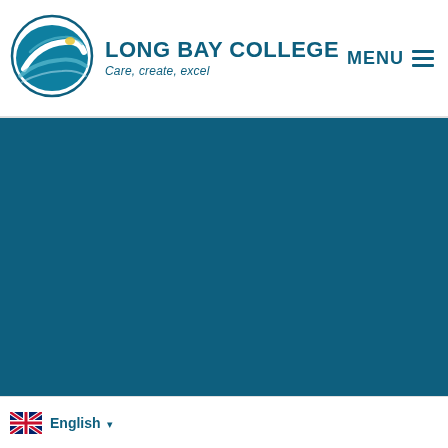[Figure (logo): Long Bay College logo: oval shape with stylized wave/road graphic in blue and teal, with yellow accent]
LONG BAY COLLEGE
Care, create, excel
MENU ≡
[Figure (photo): Large teal/dark blue solid color banner area]
English ▾